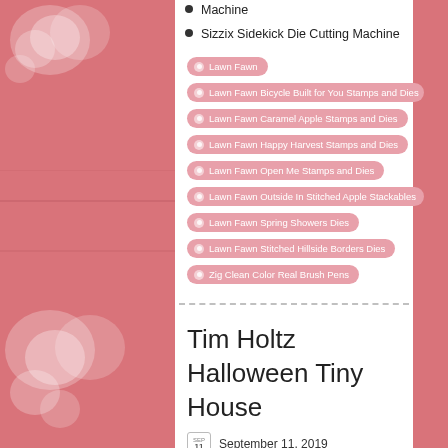Machine
Sizzix Sidekick Die Cutting Machine
Lawn Fawn
Lawn Fawn Bicycle Built for You Stamps and Dies
Lawn Fawn Caramel Apple Stamps and Dies
Lawn Fawn Happy Harvest Stamps and Dies
Lawn Fawn Open Me Stamps and Dies
Lawn Fawn Outside In Stitched Apple Stackables
Lawn Fawn Spring Showers Dies
Lawn Fawn Stitched Hillside Borders Dies
Zig Clean Color Real Brush Pens
Tim Holtz Halloween Tiny House
September 11, 2019
by PinkWhisperDesigns
Halloween, Halloween House, Tim Holtz